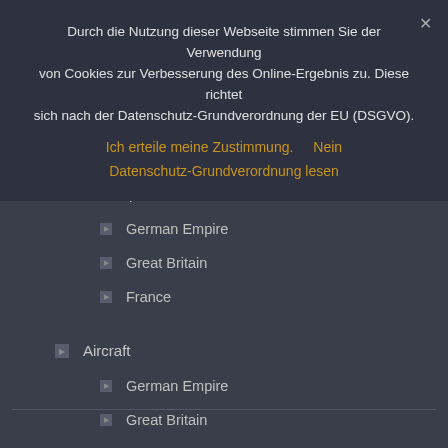Durch die Nutzung dieser Webseite stimmen Sie der Verwendung von Cookies zur Verbesserung des Online-Ergebnis zu. Diese richtet sich nach der Datenschutz-Grundverordnung der EU (DSGVO).
Ich erteile meine Zustimmung.    Nein
Datenschutz-Grundverordnung lesen
Warships
German Empire
Great Britain
France
Aircraft
German Empire
Great Britain
France